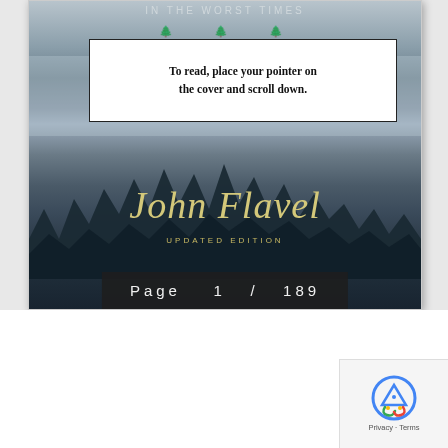[Figure (screenshot): Book cover screenshot showing a misty forest background with the title 'IN THE WORST TIMES' at the top, author 'John Flavel' in large italic gold text, 'UPDATED EDITION' below, and a page indicator showing 'Page 1 / 189'. A tooltip overlay reads 'To read, place your pointer on the cover and scroll down.']
To read, place your pointer on the cover and scroll down.
Page  1  /  189